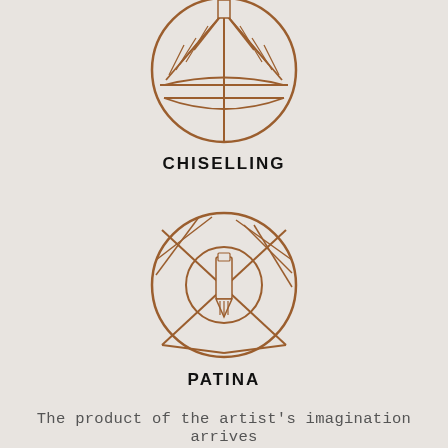[Figure (illustration): Circular art deco style icon featuring geometric chisel/tool pattern with radiating lines, in brown/copper color on light gray background]
CHISELLING
[Figure (illustration): Circular art deco style icon featuring geometric pen/writing tool pattern with diagonal hatching lines, in brown/copper color on light gray background]
PATINA
The product of the artist's imagination arrives